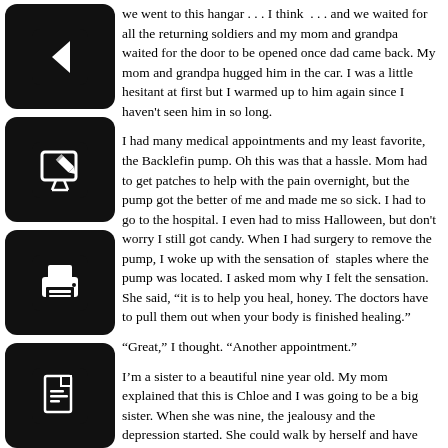[Figure (illustration): Four black rounded-square icon buttons in a vertical sidebar: back arrow, edit/pencil, print, and PDF file icons]
we went to this hangar . . . I think  . . . and we waited for all the returning soldiers and my mom and grandpa waited for the door to be opened once dad came back. My mom and grandpa hugged him in the car. I was a little hesitant at first but I warmed up to him again since I haven't seen him in so long.
I had many medical appointments and my least favorite, the Backlefin pump. Oh this was that a hassle. Mom had to get patches to help with the pain overnight, but the pump got the better of me and made me so sick. I had to go to the hospital. I even had to miss Halloween, but don't worry I still got candy. When I had surgery to remove the pump, I woke up with the sensation of  staples where the pump was located. I asked mom why I felt the sensation. She said, “it is to help you heal, honey. The doctors have to pull them out when your body is finished healing.”
“Great,” I thought. “Another appointment.”
I’m a sister to a beautiful nine year old. My mom explained that this is Chloe and I was going to be a big sister. When she was nine, the jealousy and the depression started. She could walk by herself and have less appointments and didn’t have to have a bus pick her up by a ramp.  We had problems. We had fights. I wouldn’t hurt her, of course, but I felt alone. I felt left out and then the pool started to fill up. More on that later.
Life at school can be hard sometimes– especially for a person in a